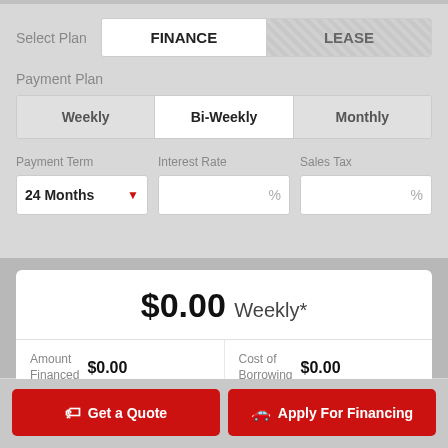Select Plan
FINANCE | LEASE
Payment Plan
Weekly | Bi-Weekly | Monthly
Payment Term
Interest Rate
Sales Tax
24 Months
$0.00 Weekly*
Amount Financed $0.00
Cost of Borrowing $0.00
Get a Quote
Apply For Financing